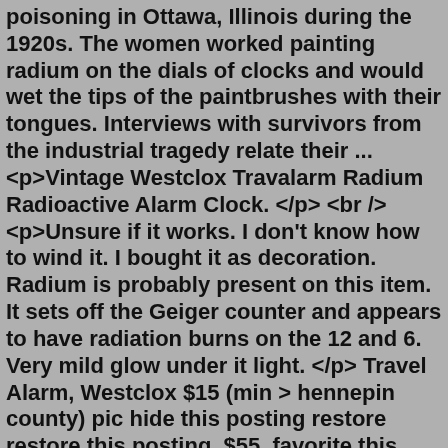poisoning in Ottawa, Illinois during the 1920s. The women worked painting radium on the dials of clocks and would wet the tips of the paintbrushes with their tongues. Interviews with survivors from the industrial tragedy relate their ...<p>Vintage Westclox Travalarm Radium Radioactive Alarm Clock. </p><br /><p>Unsure if it works. I don't know how to wind it. I bought it as decoration. Radium is probably present on this item. It sets off the Geiger counter and appears to have radiation burns on the 12 and 6. Very mild glow under it light. </p> Travel Alarm, Westclox $15 (min > hennepin county) pic hide this posting restore restore this posting. $55. favorite this post Jul 26 Antique mantle clock ... antique travel clock radium dial $25 (min > Minneapolis) pic hide this posting restore restore this posting. $90. favorite this post Jul 25Jul 14, 2022 · Radium is one type of radioactive material that could be found in antiques. When radium was discovered in the early 1900s, people were fascinated by its mysterious glow and it was added to many everyday products, including